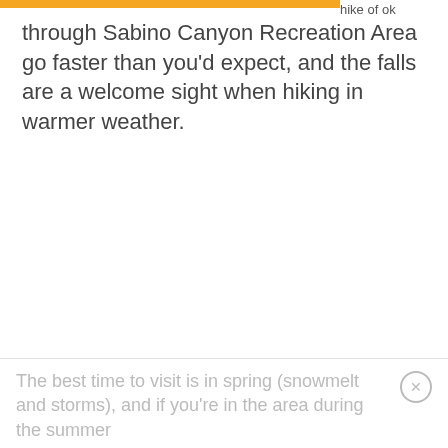hike of ok
through Sabino Canyon Recreation Area go faster than you'd expect, and the falls are a welcome sight when hiking in warmer weather.
The best time to visit is in spring (snowmelt and storms), and if you're in the area during the summer